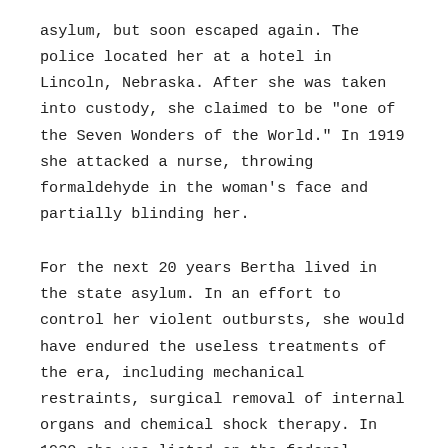asylum, but soon escaped again. The police located her at a hotel in Lincoln, Nebraska. After she was taken into custody, she claimed to be "one of the Seven Wonders of the World." In 1919 she attacked a nurse, throwing formaldehyde in the woman's face and partially blinding her.
For the next 20 years Bertha lived in the state asylum. In an effort to control her violent outbursts, she would have endured the useless treatments of the era, including mechanical restraints, surgical removal of internal organs and chemical shock therapy. In 1930 she was listed on the federal census as an inmate of the asylum with no occupation. Unlike some of the other patients, Bertha was not well enough to hold down even a simple job at the hospital